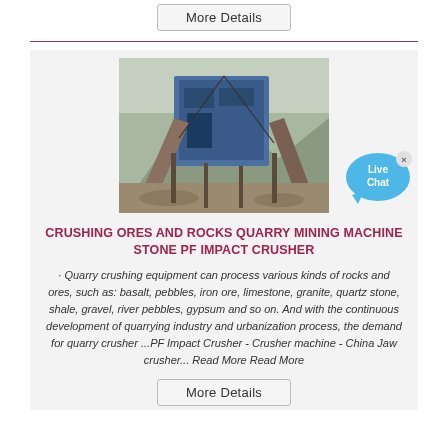More Details
[Figure (photo): Industrial quarry stone crushing machine with blue frame and conveyor belts at a mining site]
[Figure (infographic): Live Chat speech bubble button in blue]
CRUSHING ORES AND ROCKS QUARRY MINING MACHINE STONE PF IMPACT CRUSHER
· Quarry crushing equipment can process various kinds of rocks and ores, such as: basalt, pebbles, iron ore, limestone, granite, quartz stone, shale, gravel, river pebbles, gypsum and so on. And with the continuous development of quarrying industry and urbanization process, the demand for quarry crusher ...PF Impact Crusher - Crusher machine - China Jaw crusher... Read More Read More
More Details